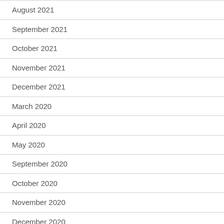August 2021
September 2021
October 2021
November 2021
December 2021
March 2020
April 2020
May 2020
September 2020
October 2020
November 2020
December 2020